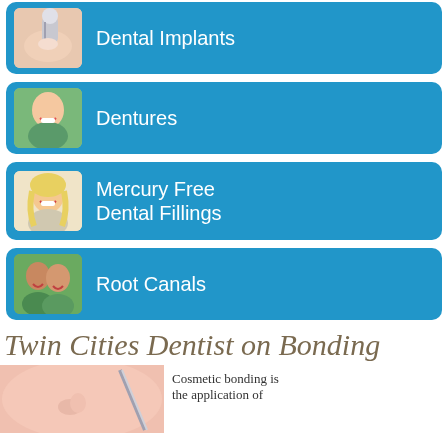Dental Implants
Dentures
Mercury Free Dental Fillings
Root Canals
Twin Cities Dentist on Bonding
[Figure (photo): Close-up photo of a person's face/nose area with a dental instrument]
Cosmetic bonding is the application of